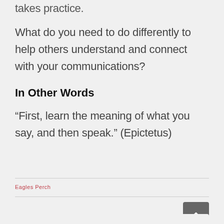takes practice.
What do you need to do differently to help others understand and connect with your communications?
In Other Words
“First, learn the meaning of what you say, and then speak.” (Epictetus)
Eagles Perch